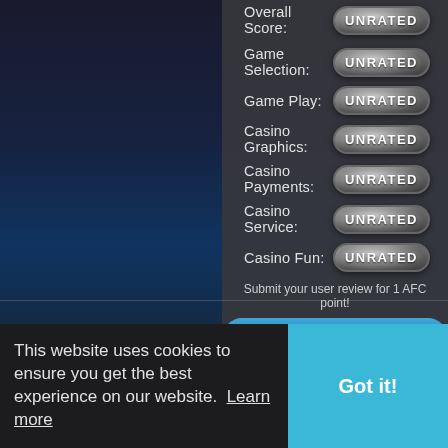[Figure (screenshot): Casino rating panel showing Overall Score, Game Selection, Game Play, Casino Graphics, Casino Payments, Casino Service, Casino Fun — all marked UNRATED with metallic badges on a dark grey panel background]
Overall Score: UNRATED
Game Selection: UNRATED
Game Play: UNRATED
Casino Graphics: UNRATED
Casino Payments: UNRATED
Casino Service: UNRATED
Casino Fun: UNRATED
Submit your user review for 1 AFC point!
Add Review
No Forum Topics Found
All times are GMT. The time now is 07:51 PM.
This website uses cookies to ensure you get the best experience on our website. Learn more
Got it!